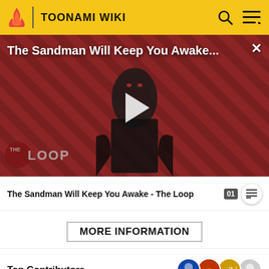TOONAMI WIKI
[Figure (screenshot): Video thumbnail for 'The Sandman Will Keep You Awake - The Loop' showing a dark figure in black clothing against a red striped background with 'THE LOOP' branding and a play button overlay]
The Sandman Will Keep You Awake - The Loop
MORE INFORMATION
Top Contributors